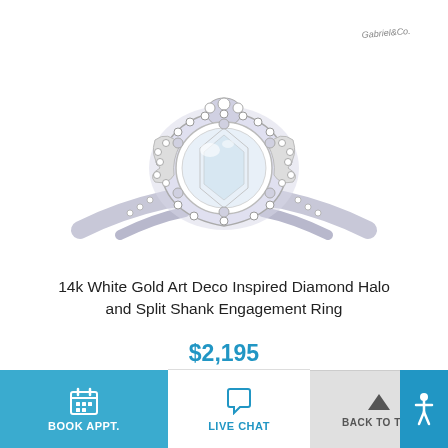[Figure (photo): Photo of a 14k white gold Art Deco inspired diamond halo and split shank engagement ring with a round center diamond, surrounded by an ornate diamond halo with Art Deco styling, on a white background. Gabriel & Co. brand.]
14k White Gold Art Deco Inspired Diamond Halo and Split Shank Engagement Ring
$2,195
BOOK APPT.
LIVE CHAT
BACK TO TOP